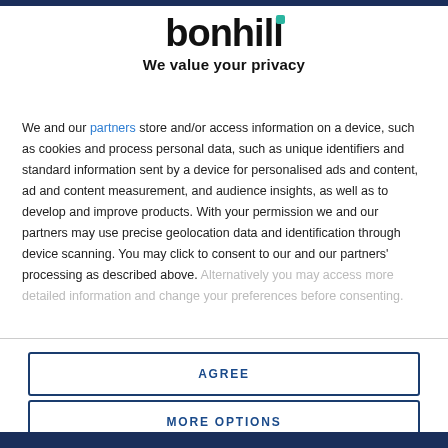[Figure (logo): Bonhill logo with teal accent square on the 'i' letter]
We value your privacy
We and our partners store and/or access information on a device, such as cookies and process personal data, such as unique identifiers and standard information sent by a device for personalised ads and content, ad and content measurement, and audience insights, as well as to develop and improve products. With your permission we and our partners may use precise geolocation data and identification through device scanning. You may click to consent to our and our partners' processing as described above. Alternatively you may access more detailed information and change your preferences before consenting.
AGREE
MORE OPTIONS